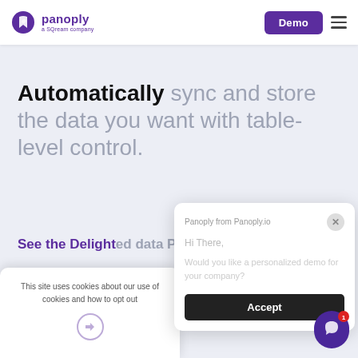[Figure (logo): Panoply logo — purple arrow/bookmark icon with text 'panoply' and subtitle 'a SQream company']
Demo
Automatically sync and store the data you want with table-level control.
See the Delighted data Panoply collects
This site uses cookies about our use of cookies and how to opt out
Panoply from Panoply.io
Hi There,
Would you like a personalized demo for your company?
Accept